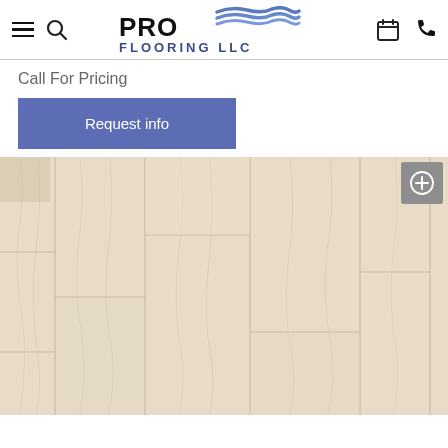PRO FLOORING LLC
Call For Pricing
Request info
[Figure (photo): Light natural oak hardwood flooring planks in a pale beige/cream tone, shown from above. A zoom/expand button icon appears in the top-right corner overlay.]